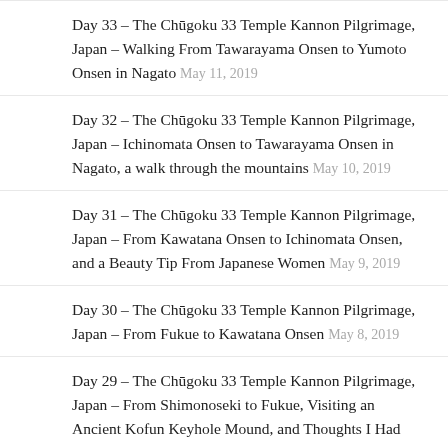Day 33 – The Chūgoku 33 Temple Kannon Pilgrimage, Japan – Walking From Tawarayama Onsen to Yumoto Onsen in Nagato May 11, 2019
Day 32 – The Chūgoku 33 Temple Kannon Pilgrimage, Japan – Ichinomata Onsen to Tawarayama Onsen in Nagato, a walk through the mountains May 10, 2019
Day 31 – The Chūgoku 33 Temple Kannon Pilgrimage, Japan – From Kawatana Onsen to Ichinomata Onsen, and a Beauty Tip From Japanese Women May 9, 2019
Day 30 – The Chūgoku 33 Temple Kannon Pilgrimage, Japan – From Fukue to Kawatana Onsen May 8, 2019
Day 29 – The Chūgoku 33 Temple Kannon Pilgrimage, Japan – From Shimonoseki to Fukue, Visiting an Ancient Kofun Keyhole Mound, and Thoughts I Had Today May